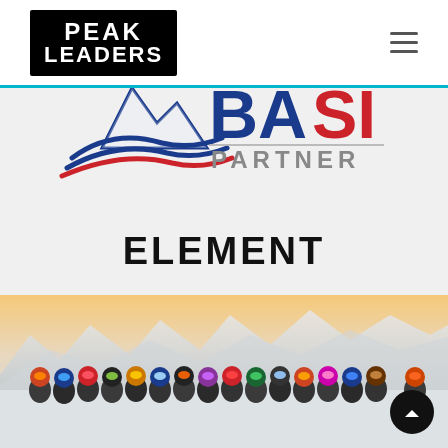[Figure (logo): Peak Leaders logo — white text on black background square, reading PEAK LEADERS in bold uppercase letters]
[Figure (logo): BASI Partner logo — mountain/wave graphic in blue and red on left, BASI in large bold blue and red letters, PARTNER in grey below, with a grey horizontal underline]
ELEMENT
[Figure (photo): Group photo of ski instructors/students in helmets and goggles on a snowy mountain slope with mountain peaks in background]